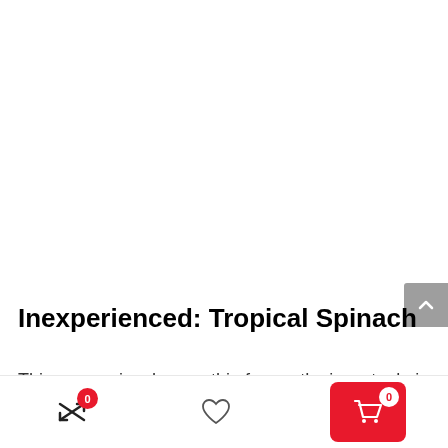[Figure (photo): Large white/blank product image area at the top of the page]
Inexperienced: Tropical Spinach
This easy spinach smoothie for youths is a staple in
[Figure (other): Bottom navigation bar with compare icon (badge 0), heart/wishlist icon, and red cart button (badge 0), plus a scroll-to-top button on the right side]